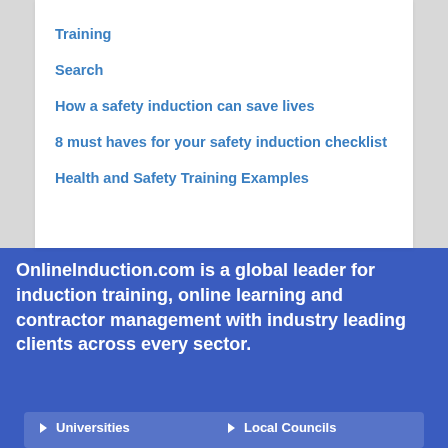Training
Search
How a safety induction can save lives
8 must haves for your safety induction checklist
Health and Safety Training Examples
OnlineInduction.com is a global leader for induction training, online learning and contractor management with industry leading clients across every sector.
Universities
Local Councils